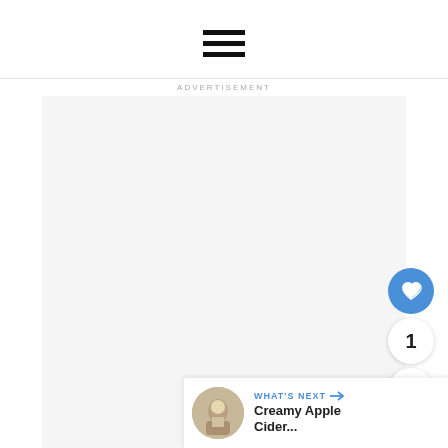[Figure (screenshot): Hamburger menu icon (three horizontal lines) centered at the top of the page]
ADVERTISEMENT
[Figure (other): Large light gray advertisement placeholder area]
[Figure (other): Blue circular heart/like button on the right side]
1
[Figure (other): White circular share button on the right side]
WHAT'S NEXT → Creamy Apple Cider...